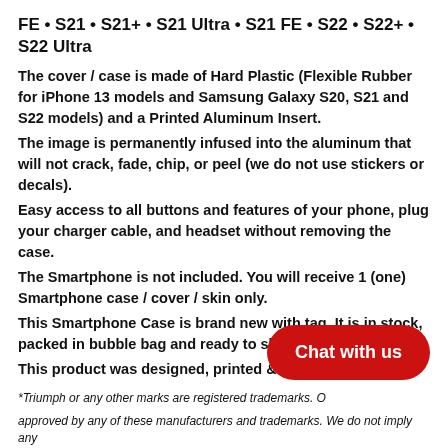FE • S21 • S21+ • S21 Ultra • S21 FE • S22 • S22+ • S22 Ultra
The cover / case is made of Hard Plastic (Flexible Rubber for iPhone 13 models and Samsung Galaxy S20, S21 and S22 models) and a Printed Aluminum Insert.
The image is permanently infused into the aluminum that will not crack, fade, chip, or peel (we do not use stickers or decals).
Easy access to all buttons and features of your phone, plug your charger cable, and headset without removing the case.
The Smartphone is not included. You will receive 1 (one) Smartphone case / cover / skin only.
This Smartphone Case is brand new with tag. It is in stock, packed in bubble bag and ready to ship.
This product was designed, printed & packed in the USA
*Triumph or any other marks are registered trademarks. O
approved by any of these manufacturers and trademarks. We do not imply any